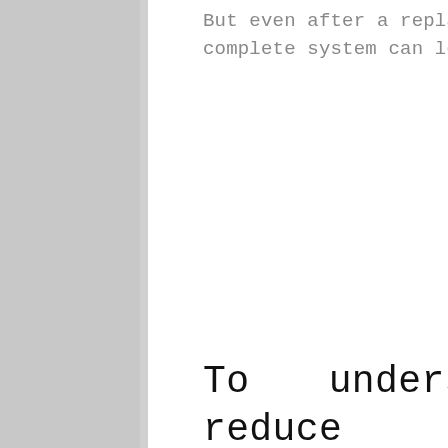But even after a replacement, the efficiency of a complete system can leave at the same level.
To understand How to reduce the energy consumption in a pumping